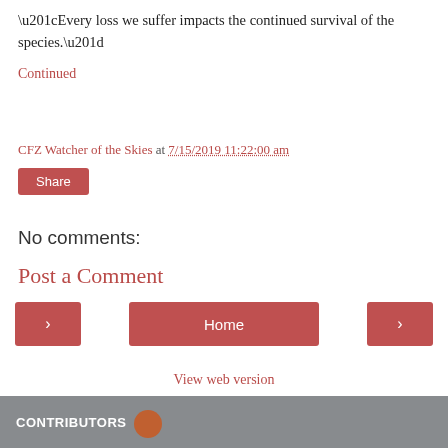“Every loss we suffer impacts the continued survival of the species.”
Continued
CFZ Watcher of the Skies at 7/15/2019 11:22:00 am
Share
No comments:
Post a Comment
Home
View web version
CONTRIBUTORS